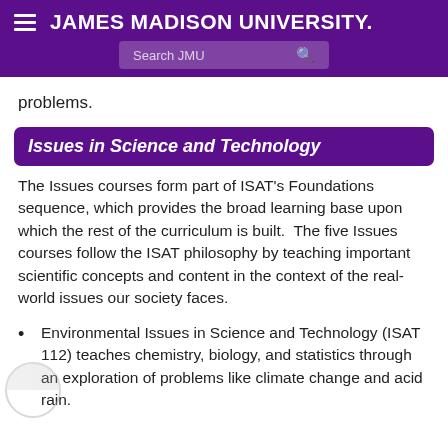JAMES MADISON UNIVERSITY
problems.
Issues in Science and Technology
The Issues courses form part of ISAT's Foundations sequence, which provides the broad learning base upon which the rest of the curriculum is built.  The five Issues courses follow the ISAT philosophy by teaching important scientific concepts and content in the context of the real-world issues our society faces.
Environmental Issues in Science and Technology (ISAT 112) teaches chemistry, biology, and statistics through an exploration of problems like climate change and acid rain.